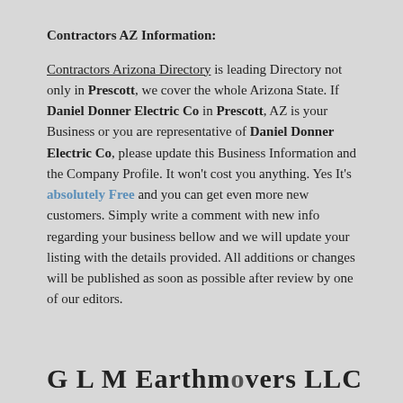Contractors AZ Information:
Contractors Arizona Directory is leading Directory not only in Prescott, we cover the whole Arizona State. If Daniel Donner Electric Co in Prescott, AZ is your Business or you are representative of Daniel Donner Electric Co, please update this Business Information and the Company Profile. It won't cost you anything. Yes It's absolutely Free and you can get even more new customers. Simply write a comment with new info regarding your business bellow and we will update your listing with the details provided. All additions or changes will be published as soon as possible after review by one of our editors.
G L M Earthmovers LLC